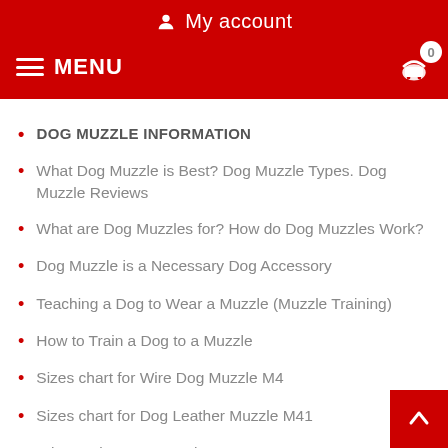My account
DOG MUZZLE INFORMATION
What Dog Muzzle is Best? Dog Muzzle Types. Dog Muzzle Reviews
What are Dog Muzzles for? How do Dog Muzzles Work?
Dog Muzzle is a Necessary Dog Accessory
Teaching a Dog to Wear a Muzzle (Muzzle Training)
How to Train a Dog to a Muzzle
Sizes chart for Wire Dog Muzzle M4
Sizes chart for Dog Leather Muzzle M41
Wire Basket Dog Muzzle UK
Wire Dog Muzzle Sizes Chart, Model M9/M10
Which Dogs Need to be Muzzled in UK